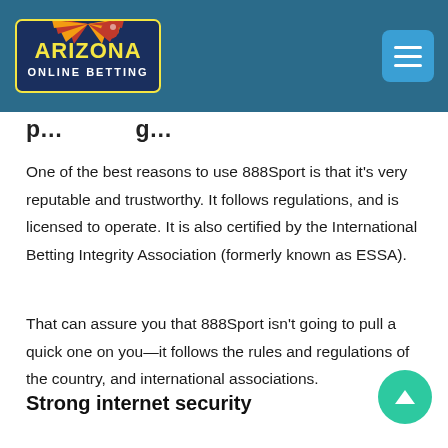Arizona Online Betting [logo] [hamburger menu]
p…g…
One of the best reasons to use 888Sport is that it's very reputable and trustworthy. It follows regulations, and is licensed to operate. It is also certified by the International Betting Integrity Association (formerly known as ESSA).
That can assure you that 888Sport isn't going to pull a quick one on you—it follows the rules and regulations of the country, and international associations.
Strong internet security
888Sport has iron-clad internet security, and there